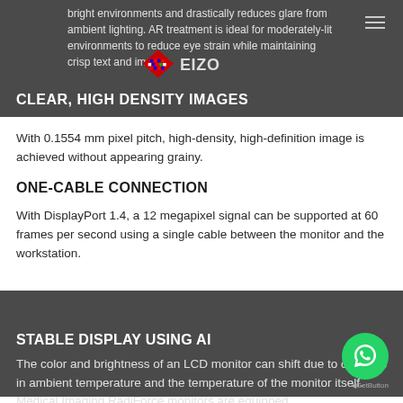bright environments and drastically reduces glare from ambient lighting. AR treatment is ideal for moderately-lit environments to reduce eye strain while maintaining crisp text and images.
[Figure (logo): EIZO diamond logo with colorful grid pattern and EIZO text]
CLEAR, HIGH DENSITY IMAGES
With 0.1554 mm pixel pitch, high-density, high-definition image is achieved without appearing grainy.
ONE-CABLE CONNECTION
With DisplayPort 1.4, a 12 megapixel signal can be supported at 60 frames per second using a single cable between the monitor and the workstation.
STABLE DISPLAY USING AI
The color and brightness of an LCD monitor can shift due to changes in ambient temperature and the temperature of the monitor itself. Medical Imaging RadiForce monitors are equipped